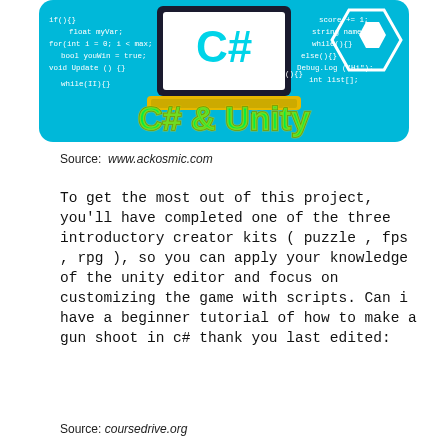[Figure (illustration): Promotional image for C# and Unity programming course. Blue background with code snippets, a laptop displaying C# logo, Unity logo, and large text reading 'C# & Unity' in green and yellow gradient.]
Source: www.ackosmic.com
To get the most out of this project, you'll have completed one of the three introductory creator kits ( puzzle , fps , rpg ), so you can apply your knowledge of the unity editor and focus on customizing the game with scripts. Can i have a beginner tutorial of how to make a gun shoot in c# thank you last edited:
Source: coursedrive.org